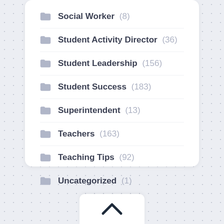Social Worker (8)
Student Activity Director (36)
Student Leadership (156)
Student Success (183)
Superintendent (13)
Teachers (163)
Teaching Tips (92)
Uncategorized (1)
[Figure (other): Back to top chevron button]